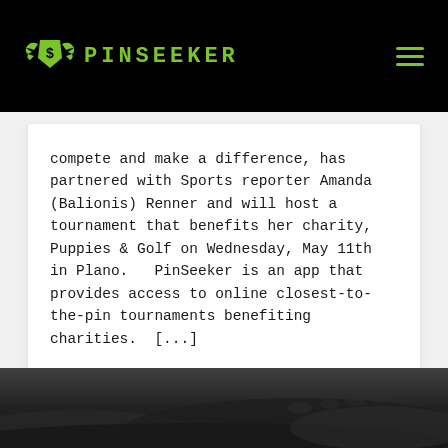PINSEEKER
compete and make a difference, has partnered with Sports reporter Amanda (Balionis) Renner and will host a tournament that benefits her charity, Puppies & Golf on Wednesday, May 11th in Plano.   PinSeeker is an app that provides access to online closest-to-the-pin tournaments benefiting charities.  [...]
Posted on May 4, 2022
[Figure (photo): Dark textured background image showing sand dunes or a golf course landscape in dark/monochrome tones]